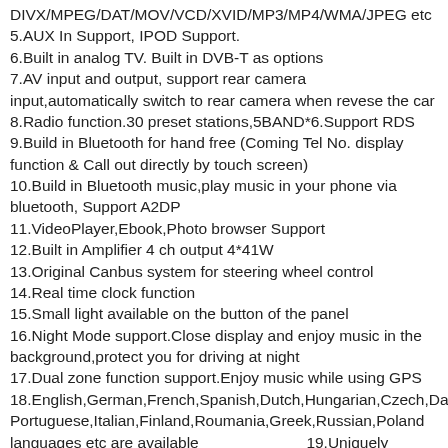DIVX/MPEG/DAT/MOV/VCD/XVID/MP3/MP4/WMA/JPEG etc
5.AUX In Support, IPOD Support.
6.Built in analog TV. Built in DVB-T as options
7.AV input and output, support rear camera input,automatically switch to rear camera when revese the car
8.Radio function.30 preset stations,5BAND*6.Support RDS
9.Build in Bluetooth for hand free (Coming Tel No. display function & Call out directly by touch screen)
10.Build in Bluetooth music,play music in your phone via bluetooth, Support A2DP
11.VideoPlayer,Ebook,Photo browser Support
12.Built in Amplifier 4 ch output 4*41W
13.Original Canbus system for steering wheel control
14.Real time clock function
15.Small light available on the button of the panel
16.Night Mode support.Close display and enjoy music in the background,protect you for driving at night
17.Dual zone function support.Enjoy music while using GPS
18.English,German,French,Spanish,Dutch,Hungarian,Czech,Danish,Norwegian,Swedish, Portuguese,Italian,Finland,Roumania,Greek,Russian,Poland languages etc are available
19.Uniquely designed circuitry including standby function to increase